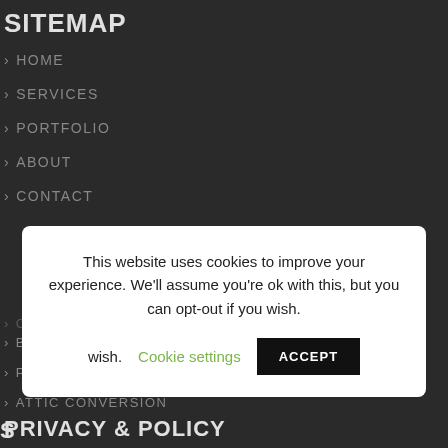SITEMAP
HOME
SERVICES
PORTFOLIO
ABOUT
CONTACT
This website uses cookies to improve your experience. We'll assume you're ok with this, but you can opt-out if you wish.   Cookie settings   ACCEPT
COMMERCIAL RENOVATION
BATHROOM RENOVATION
PROJECT MANAGEMENT
ATTIC CONVERSION
PRIVACY & POLICY